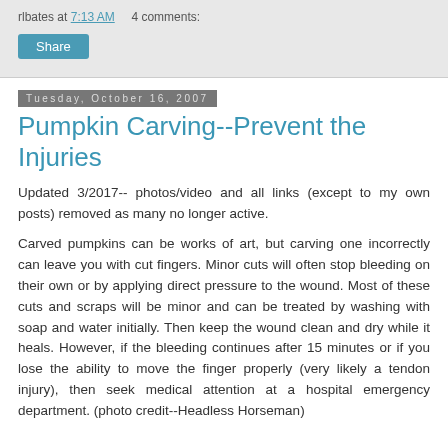rlbates at 7:13 AM    4 comments:
Share
Tuesday, October 16, 2007
Pumpkin Carving--Prevent the Injuries
Updated 3/2017-- photos/video and all links (except to my own posts) removed as many no longer active.
Carved pumpkins can be works of art, but carving one incorrectly can leave you with cut fingers. Minor cuts will often stop bleeding on their own or by applying direct pressure to the wound. Most of these cuts and scraps will be minor and can be treated by washing with soap and water initially. Then keep the wound clean and dry while it heals. However, if the bleeding continues after 15 minutes or if you lose the ability to move the finger properly (very likely a tendon injury), then seek medical attention at a hospital emergency department. (photo credit--Headless Horseman)